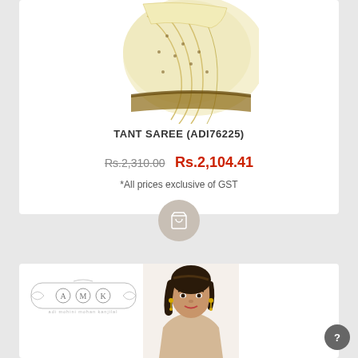[Figure (photo): Yellow tant saree product photo, partially visible at top of card]
TANT SAREE (ADI76225)
Rs.2,310.00  Rs.2,104.41
*All prices exclusive of GST
[Figure (illustration): Shopping cart icon button, circular beige/taupe background]
[Figure (logo): AMMK - Adi Mohini Mohan Kanjilal brand logo with decorative border]
[Figure (photo): Female model wearing saree, head and shoulders visible, dark hair, gold earrings]
[Figure (illustration): Help/question mark circular button, dark grey, bottom right corner]